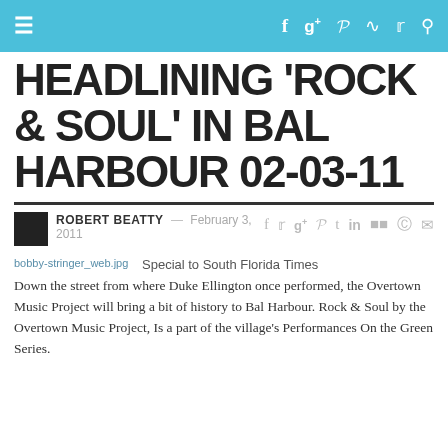≡  f  g+  p  RSS  Twitter  Search
HEADLINING 'ROCK & SOUL' IN BAL HARBOUR 02-03-11
ROBERT BEATTY — FEBRUARY 3, 2011
Special to South Florida Times
[Figure (photo): bobby-stringer_web.jpg — broken image placeholder]
Down the street from where Duke Ellington once performed, the Overtown Music Project will bring a bit of history to Bal Harbour. Rock & Soul by the Overtown Music Project, Is a part of the village's Performances On the Green Series.